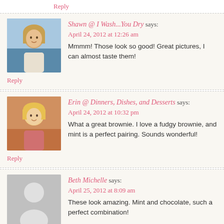Reply
Shawn @ I Wash...You Dry says:
April 24, 2012 at 12:26 am
Mmmm! Those look so good! Great pictures, I can almost taste them!
Reply
Erin @ Dinners, Dishes, and Desserts says:
April 24, 2012 at 10:32 pm
What a great brownie. I love a fudgy brownie, and mint is a perfect pairing. Sounds wonderful!
Reply
Beth Michelle says:
April 25, 2012 at 8:09 am
These look amazing. Mint and chocolate, such a perfect combination!
Reply